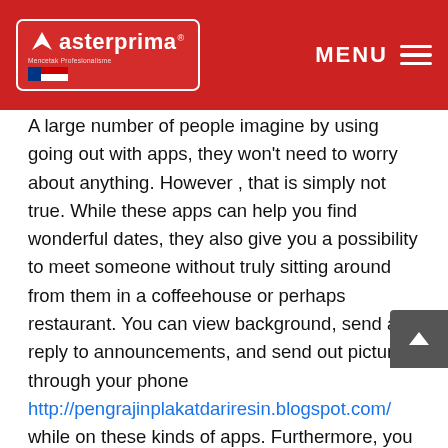Masterprima — MENU
A large number of people imagine by using going out with apps, they won't need to worry about anything. However , that is simply not true. While these apps can help you find wonderful dates, they also give you a possibility to meet someone without truly sitting around from them in a coffeehouse or perhaps restaurant. You can view background, send and reply to announcements, and send out pictures through your phone http://pengrajinplakatdariresin.blogspot.com/ while on these kinds of apps. Furthermore, you can apply all of this whilst sitting subsequent to your time. Not only might this help you save money on a first particular date, but you will also be able to catch up with her prior to the date ends and see what she's just like.
Another one of the leading tips for earliest dates is the fact